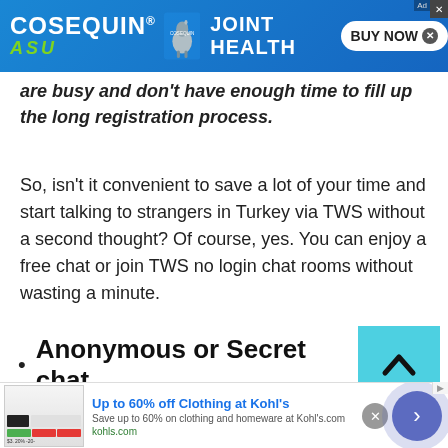[Figure (other): Cosequin ASU advertisement banner with horse image, Joint Health text and BUY NOW button]
are busy and don't have enough time to fill up the long registration process.
So, isn't it convenient to save a lot of your time and start talking to strangers in Turkey via TWS without a second thought? Of course, yes. You can enjoy a free chat or join TWS no login chat rooms without wasting a minute.
Anonymous or Secret chat
[Figure (other): Kohl's advertisement: Up to 60% off Clothing at Kohl's. Save up to 60% on clothing and homeware at Kohl's.com. kohls.com]
[Figure (other): Scroll to top button (cyan arrow up)]